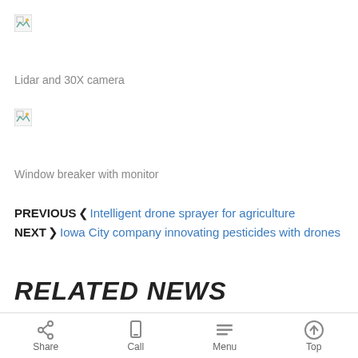[Figure (photo): Broken/missing image placeholder for Lidar and 30X camera]
Lidar and 30X camera
[Figure (photo): Broken/missing image placeholder for Window breaker with monitor]
Window breaker with monitor
PREVIOUS Intelligent drone sprayer for agriculture
NEXT Iowa City company innovating pesticides with drones
RELATED NEWS
Share  Call  Menu  Top